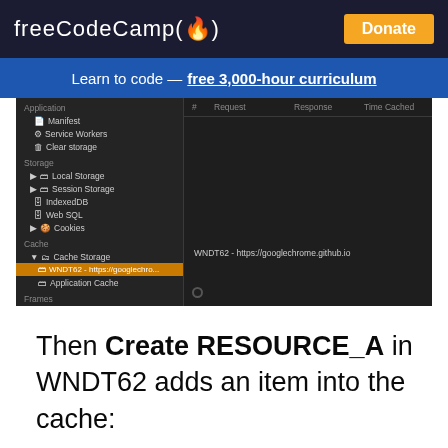freeCodeCamp(🔥)  Donate
Learn to code — free 3,000-hour curriculum
[Figure (screenshot): Chrome DevTools Application panel showing Cache Storage with WNDT62 - https://googlechrome.github.io entry selected in the sidebar, and the main panel showing columns: #, Request, Response, Time Cached]
Then Create RESOURCE_A in WNDT62 adds an item into the cache: